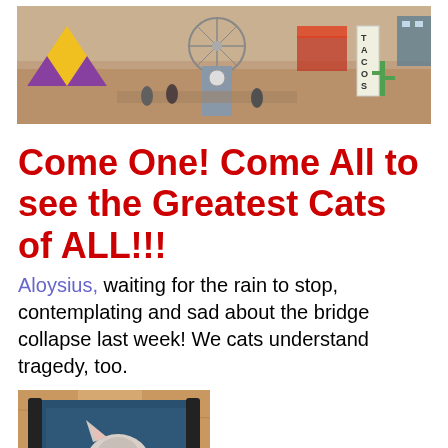[Figure (photo): A wide carnival/fair scene banner image showing colorful rides, crowds, tents, a ferris wheel, and a taco stand sign against a busy fairground background.]
Come One! Come All to see the Greatest Cats of ALL!!!
Aloysius, waiting for the rain to stop, contemplating and sad about the bridge collapse last week! We cats understand tragedy, too.
[Figure (photo): A fluffy light-colored cat (Ragdoll or similar breed) sitting on a dark blue canvas director's chair in front of wooden planks.]